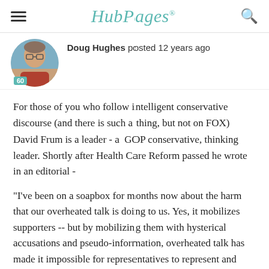HubPages
[Figure (photo): Circular avatar photo of Doug Hughes, a man with glasses outdoors, with a teal badge showing '60' in the lower left.]
Doug Hughes posted 12 years ago
For those of you who follow intelligent conservative discourse (and there is such a thing, but not on FOX) David Frum is a leader - a  GOP conservative, thinking leader. Shortly after Health Care Reform passed he wrote in an editorial -
"I've been on a soapbox for months now about the harm that our overheated talk is doing to us. Yes, it mobilizes supporters -- but by mobilizing them with hysterical accusations and pseudo-information, overheated talk has made it impossible for representatives to represent and elected leaders to lead.